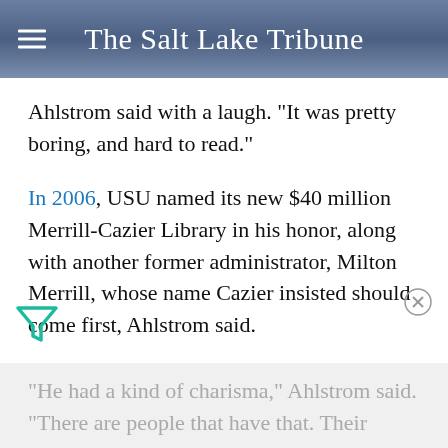The Salt Lake Tribune
Ahlstrom said with a laugh. "It was pretty boring, and hard to read."
In 2006, USU named its new $40 million Merrill-Cazier Library in his honor, along with another former administrator, Milton Merrill, whose name Cazier insisted should come first, Ahlstrom said.
"He had a kind of charisma," Ahlstrom said. "There are people that have that. Their personality comes out in a way. You can just feel that."